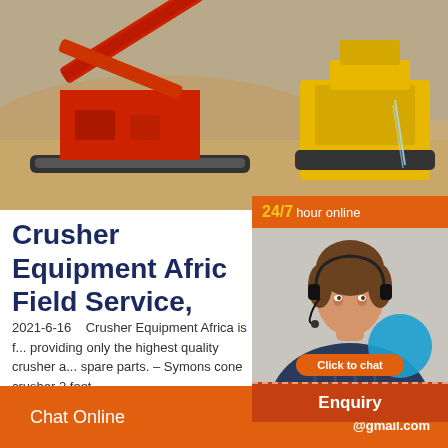[Figure (photo): Mining/quarry site with large orange and yellow crusher equipment on sandy terrain]
Crusher Equipment Africa Field Service,
2021-6-16    Crusher Equipment Africa is f... providing only the highest quality crusher a... spare parts. – Symons cone crusher 2 feet,
[Figure (infographic): 24/7 hour online chat widget with female customer service agent wearing headset, Click to chat button, and Enquiry section]
Chat Online    cywaitml @gmail.com